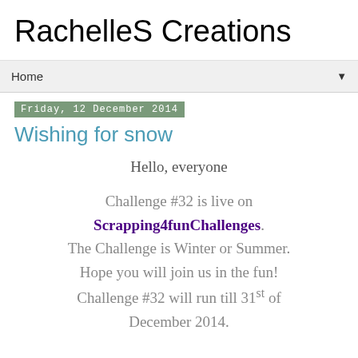RachelleS Creations
Home ▼
Friday, 12 December 2014
Wishing for snow
Hello, everyone

Challenge #32 is live on Scrapping4funChallenges. The Challenge is Winter or Summer. Hope you will join us in the fun! Challenge #32 will run till 31st of December 2014.